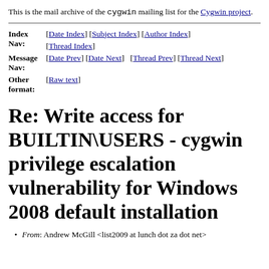This is the mail archive of the cygwin mailing list for the Cygwin project.
| Index Nav: | [Date Index] [Subject Index] [Author Index] [Thread Index] |
| Message Nav: | [Date Prev] [Date Next]  [Thread Prev] [Thread Next] |
| Other format: | [Raw text] |
Re: Write access for BUILTIN\USERS - cygwin privilege escalation vulnerability for Windows 2008 default installation
From: Andrew McGill <list2009 at lunch dot za dot net>